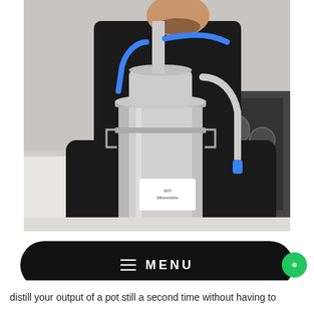[Figure (photo): A man in a black t-shirt standing over a stainless steel home distillation still on a white marble kitchen countertop. The still has blue tubing connections and a curved outlet pipe. A gas stove is visible in the background. A label on the still reads 'Still Spirits' or similar brand.]
MENU
distill your output of a pot still a second time without having to